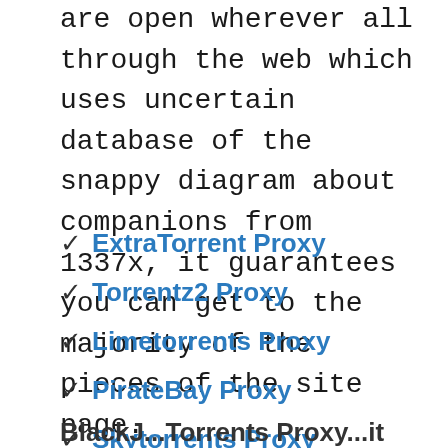are open wherever all through the web which uses uncertain database of the snappy diagram about companions from 1337x, it guarantees you can get to the majority of the pieces of the site page.
✓ ExtraTorrent Proxy
✓ Torrentz2 Proxy
✓ Limetorrents Proxy
✓ PirateBay Proxy
✓ Skytorrents Proxy
BlackJ...Torrents Proxy...it